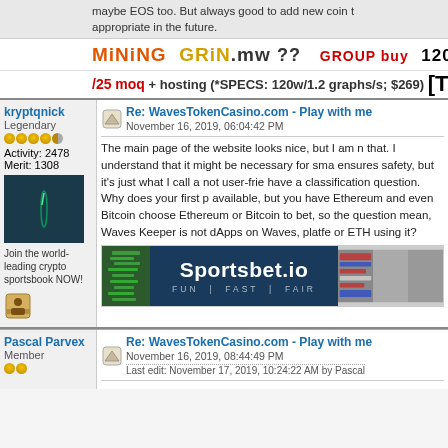maybe EOS too. But always good to add new coin appropriate in the future.
[Figure (infographic): MiNiNG GRiN.mw ?? GROUP buy 120w hom advertisement banner]
/25 moq + hosting (*SPECS: 120w/1.2 graphs/s; $269) [T
kryptqnick
Legendary
Activity: 2478
Merit: 1308
Re: WavesTokenCasino.com - Play with me
November 16, 2019, 06:04:42 PM
The main page of the website looks nice, but I am n that. I understand that it might be necessary for sma ensures safety, but it's just what I call a not user-frie have a classification question. Why does your first p available, but you have Ethereum and even Bitcoin choose Ethereum or Bitcoin to bet, so the question mean, Waves Keeper is not dApps on Waves, platfe or ETH using it?
[Figure (infographic): Sportsbet.io advertisement banner - FUN | FAST | FAIR]
Pascal Parvex
Member
Re: WavesTokenCasino.com - Play with me
November 16, 2019, 08:44:49 PM
Last edit: November 17, 2019, 10:24:22 AM by Pascal